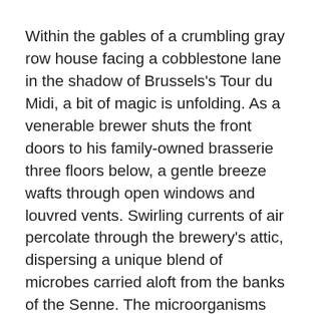Within the gables of a crumbling gray row house facing a cobblestone lane in the shadow of Brussels's Tour du Midi, a bit of magic is unfolding. As a venerable brewer shuts the front doors to his family-owned brasserie three floors below, a gentle breeze wafts through open windows and louvred vents. Swirling currents of air percolate through the brewery's attic, dispersing a unique blend of microbes carried aloft from the banks of the Senne. The microorganisms settle upon a shallow open vat of tepid, turbid wort and begin the years-long process of transforming malt sugars into lambic, pride of the Pajottenland.
Such sepia-toned scenes are as romantic and alluring as the myth of the Wild West, but